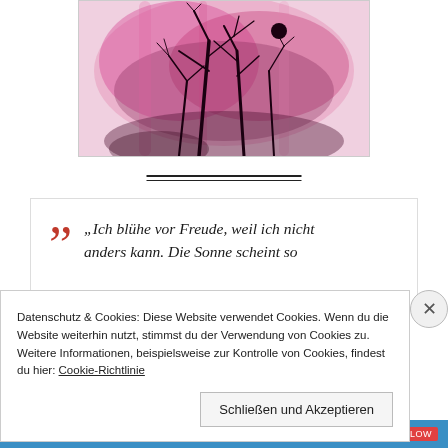[Figure (illustration): Watercolor painting of bare tree branches silhouetted against a pink and magenta wash background, with a dark circular shape (possibly a bird or fruit) visible on a branch.]
„Ich blühe vor Freude, weil ich nicht anders kann. Die Sonne scheint so
Datenschutz & Cookies: Diese Website verwendet Cookies. Wenn du die Website weiterhin nutzt, stimmst du der Verwendung von Cookies zu. Weitere Informationen, beispielsweise zur Kontrolle von Cookies, findest du hier: Cookie-Richtlinie
Schließen und Akzeptieren
[Figure (screenshot): Blue bottom bar with 'BROWSING' text and a red button]